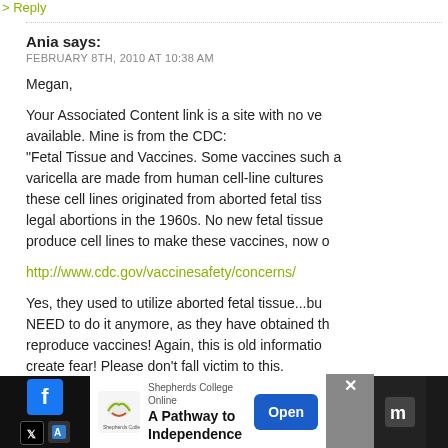> Reply
Ania says:
FEBRUARY 8TH, 2010 AT 10:38 AM
Megan,

Your Associated Content link is a site with no ve available. Mine is from the CDC:
"Fetal Tissue and Vaccines. Some vaccines such a varicella are made from human cell-line cultures these cell lines originated from aborted fetal tiss legal abortions in the 1960s. No new fetal tissue produce cell lines to make these vaccines, now o
http://www.cdc.gov/vaccinesafety/concerns/
Yes, they used to utilize aborted fetal tissue...bu NEED to do it anymore, as they have obtained th reproduce vaccines! Again, this is old informatio create fear! Please don’t fall victim to this.
> Reply
[Figure (screenshot): Advertisement banner for Shepherds College Online showing logo, text 'A Pathway to Independence', Open button, close X, and social media icons]